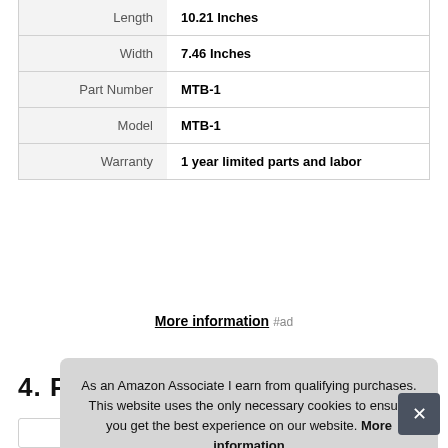| Attribute | Value |
| --- | --- |
| Length | 10.21 Inches |
| Width | 7.46 Inches |
| Part Number | MTB-1 |
| Model | MTB-1 |
| Warranty | 1 year limited parts and labor |
More information #ad
4. PACKISM
#ad
As an Amazon Associate I earn from qualifying purchases. This website uses the only necessary cookies to ensure you get the best experience on our website. More information